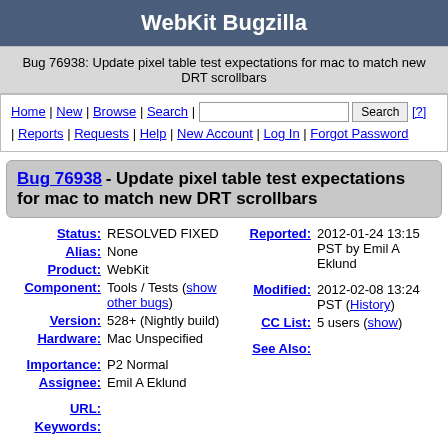WebKit Bugzilla
Bug 76938: Update pixel table test expectations for mac to match new DRT scrollbars
Home | New | Browse | Search | [search box] Search [?] | Reports | Requests | Help | New Account | Log In | Forgot Password
Bug 76938 - Update pixel table test expectations for mac to match new DRT scrollbars
| Field | Value |
| --- | --- |
| Status: | RESOLVED FIXED |
| Alias: | None |
| Product: | WebKit |
| Component: | Tools / Tests (show other bugs) |
| Version: | 528+ (Nightly build) |
| Hardware: | Mac Unspecified |
| Importance: | P2 Normal |
| Assignee: | Emil A Eklund |
| URL: |  |
| Keywords: |  |
| Reported: | 2012-01-24 13:15 PST by Emil A Eklund |
| Modified: | 2012-02-08 13:24 PST (History) |
| CC List: | 5 users (show) |
| See Also: |  |